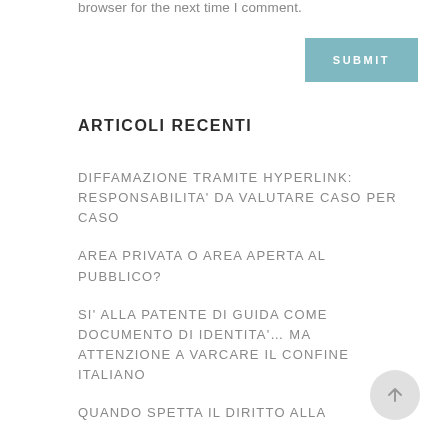browser for the next time I comment.
SUBMIT
ARTICOLI RECENTI
DIFFAMAZIONE TRAMITE HYPERLINK: RESPONSABILITA' DA VALUTARE CASO PER CASO
AREA PRIVATA O AREA APERTA AL PUBBLICO?
SI' ALLA PATENTE DI GUIDA COME DOCUMENTO DI IDENTITA'… MA ATTENZIONE A VARCARE IL CONFINE ITALIANO
QUANDO SPETTA IL DIRITTO ALLA